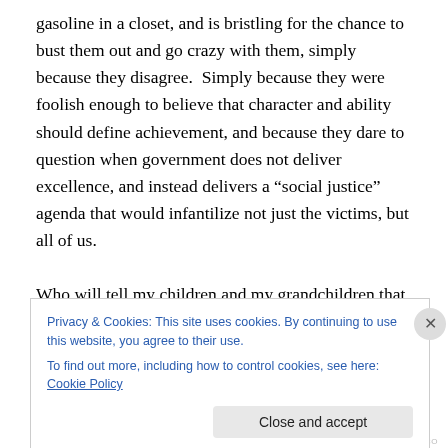gasoline in a closet, and is bristling for the chance to bust them out and go crazy with them, simply because they disagree.  Simply because they were foolish enough to believe that character and ability should define achievement, and because they dare to question when government does not deliver excellence, and instead delivers a “social justice” agenda that would infantilize not just the victims, but all of us.

Who will tell my children and my grandchildren that their right to make mistakes, that their right to happen on the
Privacy & Cookies: This site uses cookies. By continuing to use this website, you agree to their use.
To find out more, including how to control cookies, see here: Cookie Policy
NOFAPTICS.CO